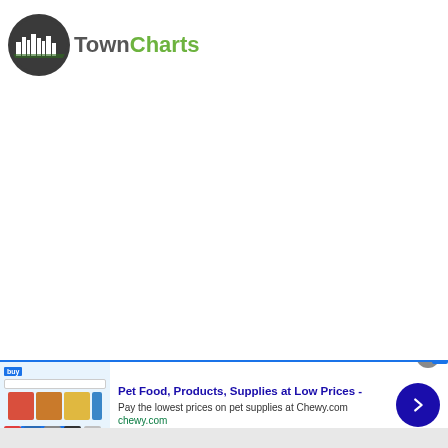[Figure (logo): TownCharts logo: green and gray circle icon with city skyline silhouette, followed by text 'Town' in dark gray and 'Charts' in green]
[Figure (screenshot): Advertisement banner for Chewy.com pet supplies. Shows product images thumbnail strip on left. Headline: 'Pet Food, Products, Supplies at Low Prices -'. Description: 'Pay the lowest prices on pet supplies at Chewy.com'. URL: chewy.com. Blue navigation arrow button on right. Close button (X) in gray circle top right corner. Ad label icon top far right.]